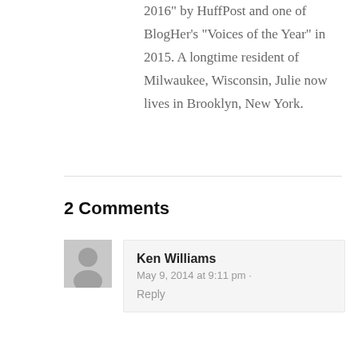2016 by HuffPost and one of BlogHer's “Voices of the Year” in 2015. A longtime resident of Milwaukee, Wisconsin, Julie now lives in Brooklyn, New York.
2 Comments
[Figure (illustration): Grey avatar/profile placeholder image with silhouette of a person]
Ken Williams
May 9, 2014 at 9:11 pm · Reply